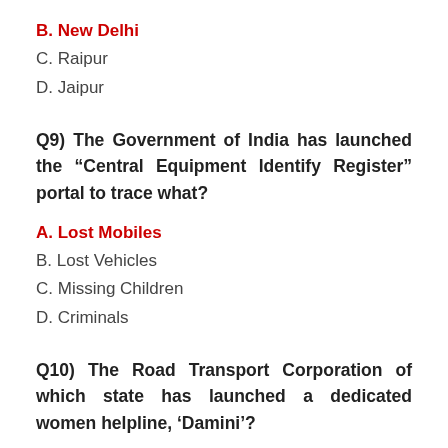B. New Delhi
C. Raipur
D. Jaipur
Q9) The Government of India has launched the “Central Equipment Identify Register” portal to trace what?
A. Lost Mobiles
B. Lost Vehicles
C. Missing Children
D. Criminals
Q10) The Road Transport Corporation of which state has launched a dedicated women helpline, ‘Damini’?